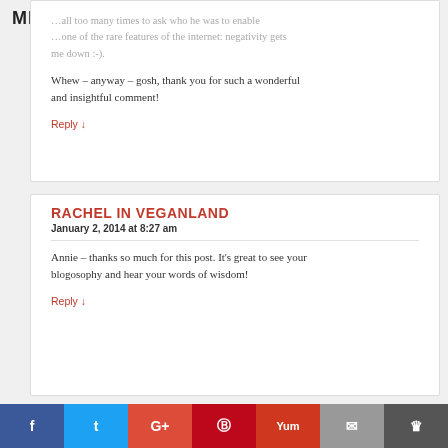MENU
me down :-).
Whew – anyway – gosh, thank you for such a wonderful and insightful comment!
Reply ↓
RACHEL IN VEGANLAND
January 2, 2014 at 8:27 am
Annie – thanks so much for this post. It's great to see your blogosophy and hear your words of wisdom!
Reply ↓